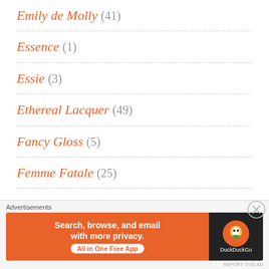Emily de Molly (41)
Essence (1)
Essie (3)
Ethereal Lacquer (49)
Fancy Gloss (5)
Femme Fatale (25)
FUN Lacquer (1)
Girly Bits (7)
[Figure (screenshot): DuckDuckGo advertisement banner: 'Search, browse, and email with more privacy. All in One Free App']
Advertisements